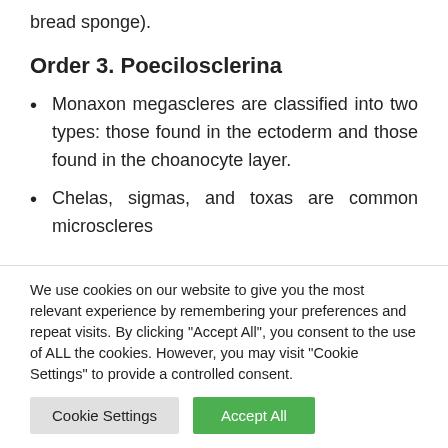bread sponge).
Order 3. Poecilosclerina
Monaxon megascleres are classified into two types: those found in the ectoderm and those found in the choanocyte layer.
Chelas, sigmas, and toxas are common microscleres
We use cookies on our website to give you the most relevant experience by remembering your preferences and repeat visits. By clicking “Accept All”, you consent to the use of ALL the cookies. However, you may visit “Cookie Settings” to provide a controlled consent.